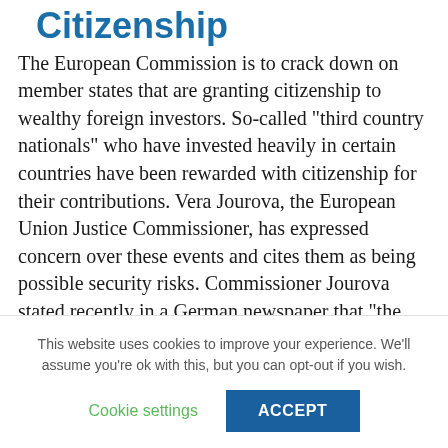Citizenship
The European Commission is to crack down on member states that are granting citizenship to wealthy foreign investors. So-called “third country nationals” who have invested heavily in certain countries have been rewarded with citizenship for their contributions. Vera Jourova, the European Union Justice Commissioner, has expressed concern over these events and cites them as being possible security risks. Commissioner Jourova stated recently in a German newspaper that “the EU must not become a safe haven for criminals, corruption
This website uses cookies to improve your experience. We’ll assume you’re ok with this, but you can opt-out if you wish.
Cookie settings   ACCEPT